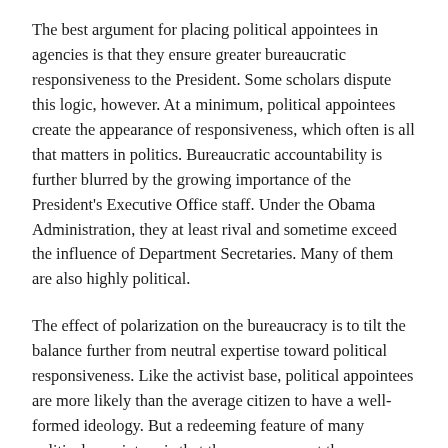The best argument for placing political appointees in agencies is that they ensure greater bureaucratic responsiveness to the President. Some scholars dispute this logic, however. At a minimum, political appointees create the appearance of responsiveness, which often is all that matters in politics. Bureaucratic accountability is further blurred by the growing importance of the President's Executive Office staff. Under the Obama Administration, they at least rival and sometime exceed the influence of Department Secretaries. Many of them are also highly political.
The effect of polarization on the bureaucracy is to tilt the balance further from neutral expertise toward political responsiveness. Like the activist base, political appointees are more likely than the average citizen to have a well-formed ideology. But a redeeming feature of many political appointees is that they are more apt than pure activists to care about the President's political standing and the effect policies might have on the President's re-election or Congressional races. While there is some centrifugal pull from political appointees,